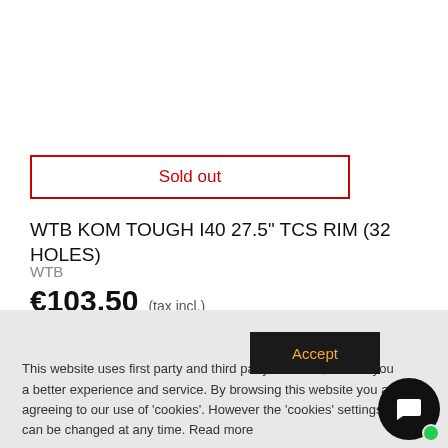Sold out
WTB KOM TOUGH I40 27.5" TCS RIM (32 HOLES)
WTB
€103.50 (tax incl.)
View More
Add To Wishlist
This website uses first party and third party 'cookies', to offer you a better experience and service. By browsing this website you are agreeing to our use of 'cookies'. However the 'cookies' settings can be changed at any time. Read more